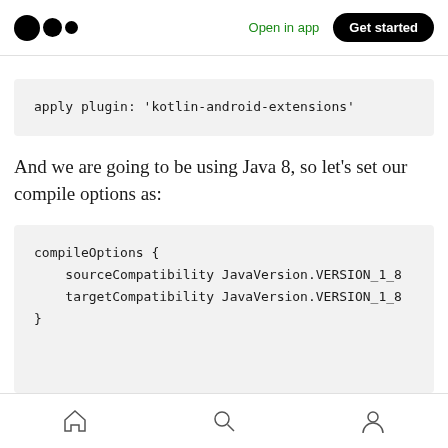Open in app | Get started
apply plugin: 'kotlin-android-extensions'
And we are going to be using Java 8, so let's set our compile options as:
compileOptions {
    sourceCompatibility JavaVersion.VERSION_1_8
    targetCompatibility JavaVersion.VERSION_1_8
}
Home Search Profile